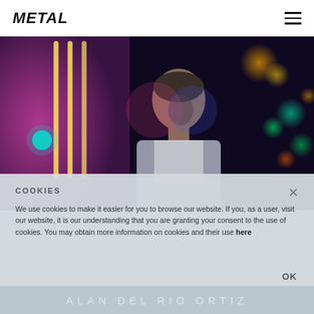METAL
[Figure (photo): A young man with dark hair photographed in a dark urban setting with colorful neon lights and bokeh in the background. Neon tube light art visible on the left side.]
COOKIES
We use cookies to make it easier for you to browse our website. If you, as a user, visit our website, it is our understanding that you are granting your consent to the use of cookies. You may obtain more information on cookies and their use here
ALAN DEL RIO ORTIZ